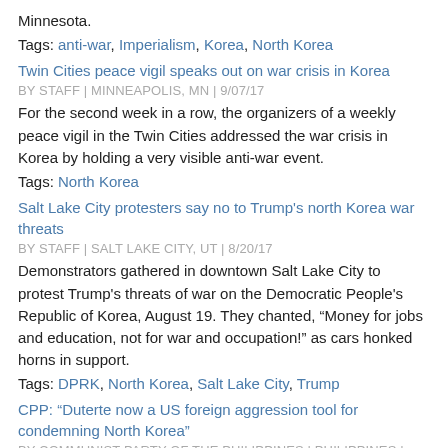Minnesota.
Tags: anti-war, Imperialism, Korea, North Korea
Twin Cities peace vigil speaks out on war crisis in Korea
BY STAFF | MINNEAPOLIS, MN | 9/07/17
For the second week in a row, the organizers of a weekly peace vigil in the Twin Cities addressed the war crisis in Korea by holding a very visible anti-war event.
Tags: North Korea
Salt Lake City protesters say no to Trump's north Korea war threats
BY STAFF | SALT LAKE CITY, UT | 8/20/17
Demonstrators gathered in downtown Salt Lake City to protest Trump's threats of war on the Democratic People's Republic of Korea, August 19. They chanted, “Money for jobs and education, not for war and occupation!” as cars honked horns in support.
Tags: DPRK, North Korea, Salt Lake City, Trump
CPP: “Duterte now a US foreign aggression tool for condemning North Korea”
BY COMMUNIST PARTY OF THE PHILIPPINES | PHILIPPINES | 8/06/17
Fight Back News Service is circulating the following August 3 statement from the Information Bureau of the Communist Party of the Philippines (CPP).